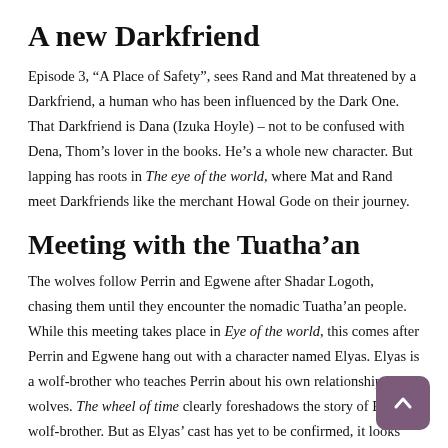A new Darkfriend
Episode 3, “A Place of Safety”, sees Rand and Mat threatened by a Darkfriend, a human who has been influenced by the Dark One. That Darkfriend is Dana (Izuka Hoyle) – not to be confused with Dena, Thom’s lover in the books. He’s a whole new character. But lapping has roots in The eye of the world, where Mat and Rand meet Darkfriends like the merchant Howal Gode on their journey.
Meeting with the Tuatha’an
The wolves follow Perrin and Egwene after Shadar Logoth, chasing them until they encounter the nomadic Tuatha’an people. While this meeting takes place in Eye of the world, this comes after Perrin and Egwene hang out with a character named Elyas. Elyas is a wolf-brother who teaches Perrin about his own relationship with wolves. The wheel of time clearly foreshadows the story of Perrin’s wolf-brother. But as Elyas’ cast has yet to be confirmed, it looks like he won’t be one of them.
Liandrin and Logain